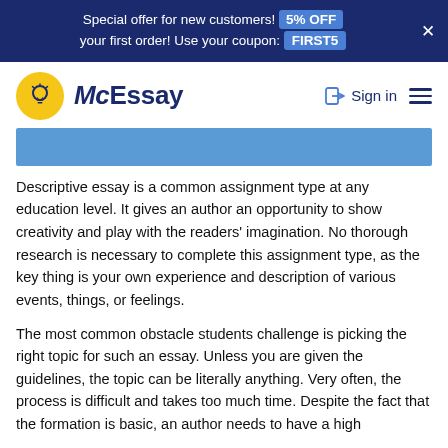Special offer for new customers! 5% OFF your first order! Use your coupon: FIRST5
[Figure (logo): McEssay logo with yellow lightbulb icon and dark blue brand name text, plus Sign in button and hamburger menu]
[Figure (other): Blue horizontal section bar/banner]
Descriptive essay is a common assignment type at any education level. It gives an author an opportunity to show creativity and play with the readers' imagination. No thorough research is necessary to complete this assignment type, as the key thing is your own experience and description of various events, things, or feelings.
The most common obstacle students challenge is picking the right topic for such an essay. Unless you are given the guidelines, the topic can be literally anything. Very often, the process is difficult and takes too much time. Despite the fact that the formation is basic, an author needs to have a high